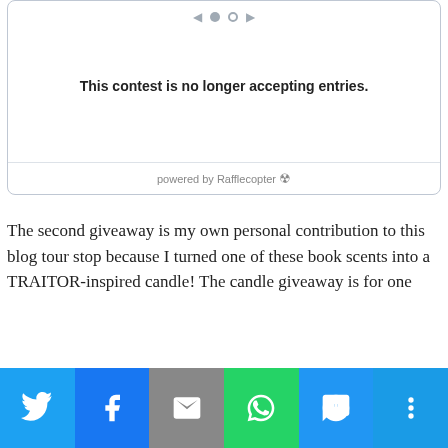[Figure (screenshot): Rafflecopter giveaway widget showing navigation arrows and dots at top, message 'This contest is no longer accepting entries.' in bold, and 'powered by Rafflecopter' footer.]
The second giveaway is my own personal contribution to this blog tour stop because I turned one of these book scents into a TRAITOR-inspired candle! The candle giveaway is for one
[Figure (infographic): Social share bar with icons for Twitter (blue), Facebook (dark blue), Email (gray), WhatsApp (green), SMS (light blue), and More (blue).]